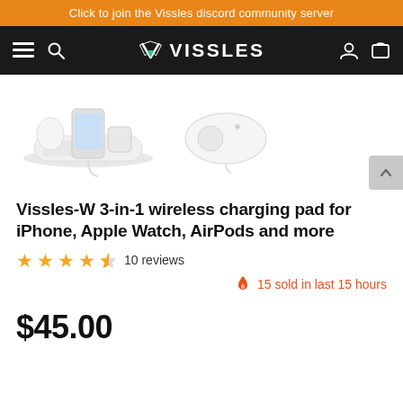Click to join the Vissles discord community server
[Figure (logo): Vissles navigation bar with hamburger menu, search icon, Vissles logo (V chevron + VISSLES text), user icon, and cart icon on black background]
[Figure (photo): Vissles-W 3-in-1 wireless charging pad product photos: main image showing pad with iPhone, Apple Watch, and AirPods; secondary image showing the pad folded/closed]
Vissles-W 3-in-1 wireless charging pad for iPhone, Apple Watch, AirPods and more
★★★★½ 10 reviews
🔥 15 sold in last 15 hours
$45.00